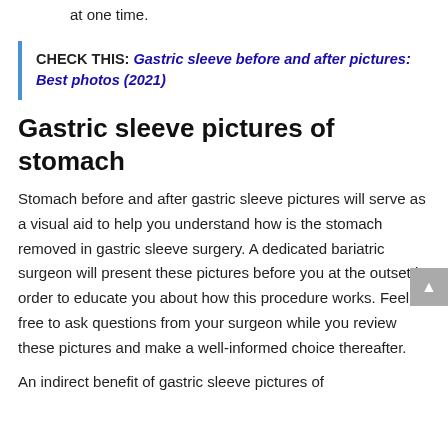at one time.
CHECK THIS: Gastric sleeve before and after pictures: Best photos (2021)
Gastric sleeve pictures of stomach
Stomach before and after gastric sleeve pictures will serve as a visual aid to help you understand how is the stomach removed in gastric sleeve surgery. A dedicated bariatric surgeon will present these pictures before you at the outset in order to educate you about how this procedure works. Feel free to ask questions from your surgeon while you review these pictures and make a well-informed choice thereafter.
An indirect benefit of gastric sleeve pictures of